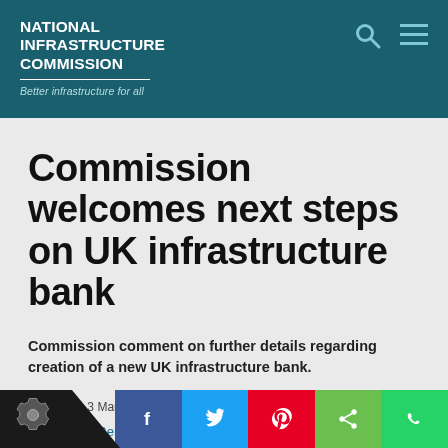NATIONAL INFRASTRUCTURE COMMISSION
Better infrastructure for all
Commission welcomes next steps on UK infrastructure bank
Commission comment on further details regarding creation of a new UK infrastructure bank.
Published: 3 Mar 2021
Ben Wilson